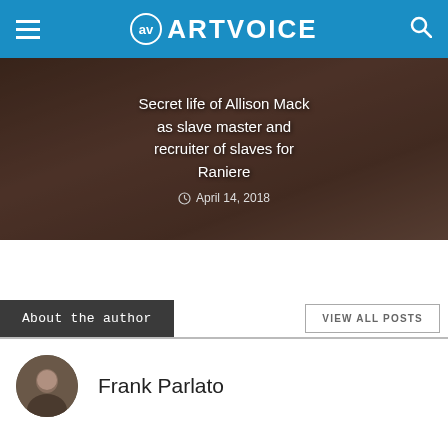ARTVOICE
[Figure (photo): Article thumbnail image with dark overlay showing partial text: 'Secret life of Allison Mack as slave master and recruiter of slaves for Raniere' with date April 14, 2018]
About the author
VIEW ALL POSTS
[Figure (photo): Circular avatar photo of Frank Parlato, a man in dark clothing]
Frank Parlato